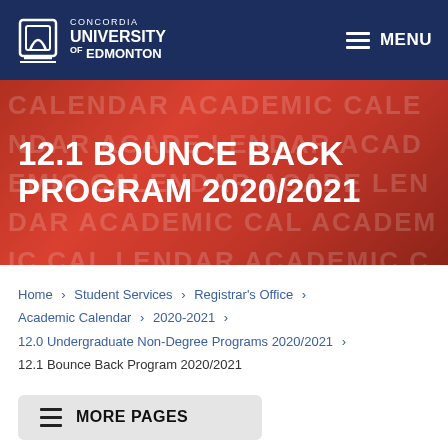Concordia University of Edmonton — MENU
12.1 BOUNCE BACK PROGRAM 2020/2021
Home > Student Services > Registrar's Office > Academic Calendar > 2020-2021 > 12.0 Undergraduate Non-Degree Programs 2020/2021 > 12.1 Bounce Back Program 2020/2021
MORE PAGES
12.1 Bounce Back Program